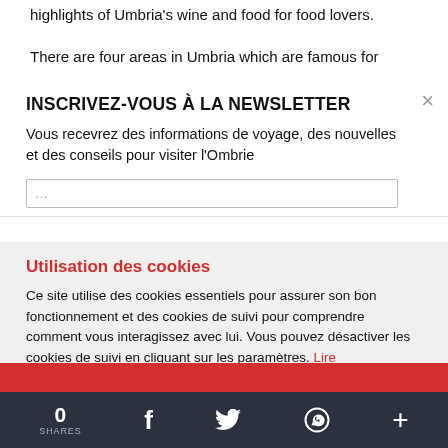highlights of Umbria's wine and food for food lovers.
There are four areas in Umbria which are famous for
INSCRIVEZ-VOUS À LA NEWSLETTER
Vous recevrez des informations de voyage, des nouvelles et des conseils pour visiter l'Ombrie
Utilisation des cookies
Ce site utilise des cookies essentiels pour assurer son bon fonctionnement et des cookies de suivi pour comprendre comment vous interagissez avec lui. Vous pouvez désactiver les cookies de suivi en cliquant sur les paramètres. Lire
0 SHARES  [Facebook] [Twitter] [WhatsApp] [+]